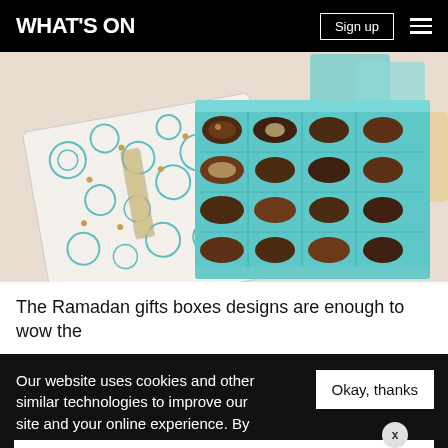WHAT'S ON | Sign up
[Figure (photo): A teal/mint coloured gift box open showing rows of chocolate-covered dates with toppings (sesame seeds, nuts), with a decorative patterned lid beside it on a marble surface with teal gift boxes in background.]
The Ramadan gifts boxes designs are enough to wow the
Our website uses cookies and other similar technologies to improve our site and your online experience. By continuing to use our website you consen... our pr...
Okay, thanks